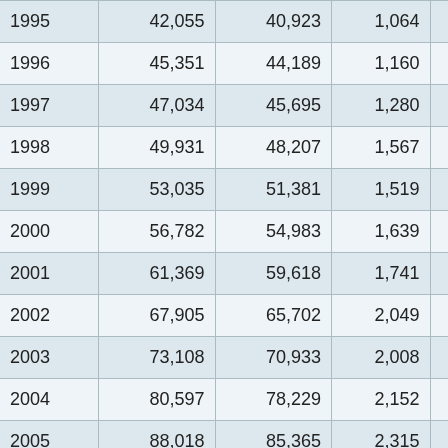| Year | Col2 | Col3 | Col4 |  |
| --- | --- | --- | --- | --- |
| 1995 | 42,055 | 40,923 | 1,064 |  |
| 1996 | 45,351 | 44,189 | 1,160 |  |
| 1997 | 47,034 | 45,695 | 1,280 |  |
| 1998 | 49,931 | 48,207 | 1,567 |  |
| 1999 | 53,035 | 51,381 | 1,519 |  |
| 2000 | 56,782 | 54,983 | 1,639 |  |
| 2001 | 61,369 | 59,618 | 1,741 |  |
| 2002 | 67,905 | 65,702 | 2,049 |  |
| 2003 | 73,108 | 70,933 | 2,008 |  |
| 2004 | 80,597 | 78,229 | 2,152 |  |
| 2005 | 88,018 | 85,365 | 2,315 |  |
| 2006 | 94,456 | 91,741 | 2,326 |  |
| 2007 | 98,778 | 95,865 | 2,468 |  |
| 2008 | 108,951 | 106,007 | 2,526 |  |
| 2009 | 121,506 | 118,315 | 2,743 |  |